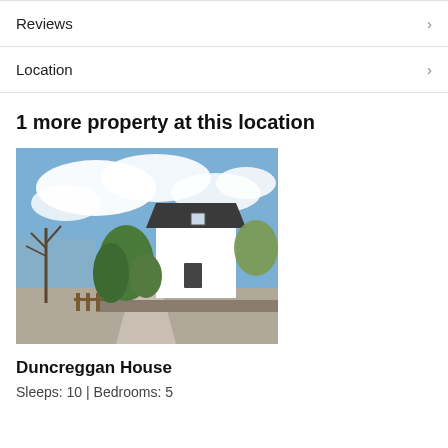Reviews
Location
1 more property at this location
[Figure (photo): Exterior photo of Duncreggan House, a white Scottish house with dark roof and a driveway, surrounded by trees and shrubs under a partly cloudy sky.]
Duncreggan House
Sleeps: 10 | Bedrooms: 5